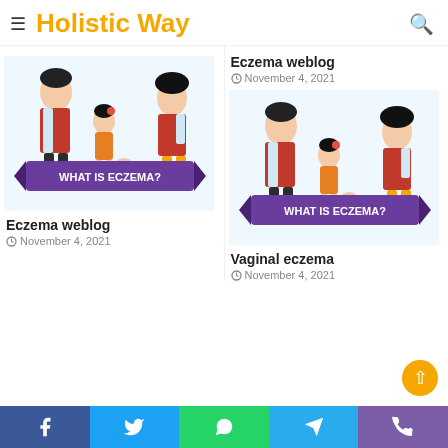Holistic Way
Eczema weblog
November 4, 2021
[Figure (illustration): Cartoon family holding a purple banner reading WHAT IS ECZEMA? — left article thumbnail]
Eczema weblog
November 4, 2021
[Figure (illustration): Cartoon family holding a purple banner reading WHAT IS ECZEMA? — right article thumbnail]
Vaginal eczema
November 4, 2021